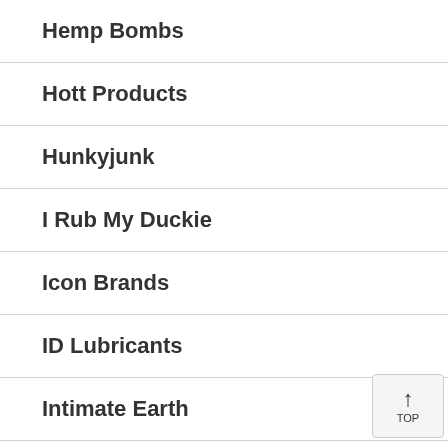Hemp Bombs
Hott Products
Hunkyjunk
I Rub My Duckie
Icon Brands
ID Lubricants
Intimate Earth
Issawrap Incp.s. Condoms